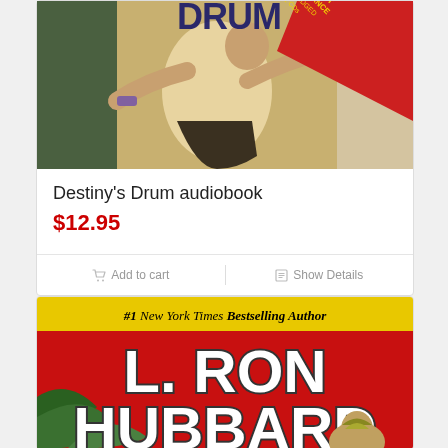[Figure (photo): Destiny's Drum audiobook cover showing a figure in action pose with a diagonal red banner reading 'A MULTICAST PERFORMANCE UNABRIDGED 2 CDs']
Destiny's Drum audiobook
$12.95
Add to cart
Show Details
[Figure (photo): L. Ron Hubbard book cover with yellow banner reading '#1 New York Times Bestselling Author', large red background with white bold text 'L. RON HUBBARD', and illustrated figures at the bottom]